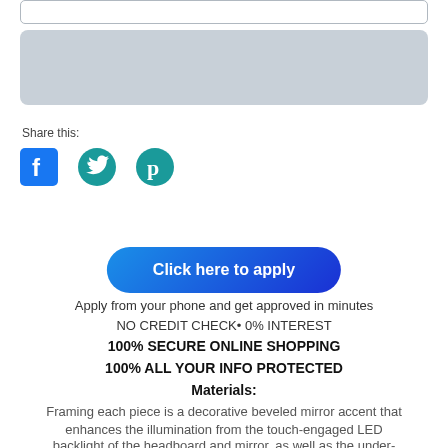[Figure (screenshot): Input text field (empty, white with border)]
[Figure (screenshot): Gray/blue-gray rectangular bar placeholder element]
Share this:
[Figure (infographic): Social media icons: Facebook (blue square with f), Twitter (teal bird), Pinterest (teal P circle)]
[Figure (screenshot): Blue gradient button labeled 'Click here to apply']
Apply from your phone and get approved in minutes
NO CREDIT CHECK• 0% INTEREST
100% SECURE ONLINE SHOPPING
100% ALL YOUR INFO PROTECTED
Materials:
Framing each piece is a decorative beveled mirror accent that enhances the illumination from the touch-engaged LED backlight of the headboard and mirror, as well as the under-